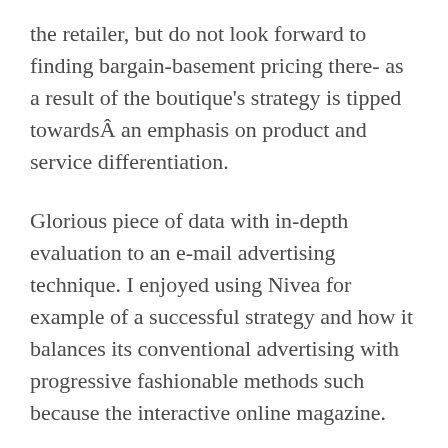the retailer, but do not look forward to finding bargain-basement pricing there- as a result of the boutique's strategy is tipped towardsÂ an emphasis on product and service differentiation.
Glorious piece of data with in-depth evaluation to an e-mail advertising technique. I enjoyed using Nivea for example of a successful strategy and how it balances its conventional advertising with progressive fashionable methods such because the interactive online magazine.
Whereas it is true that you will have to